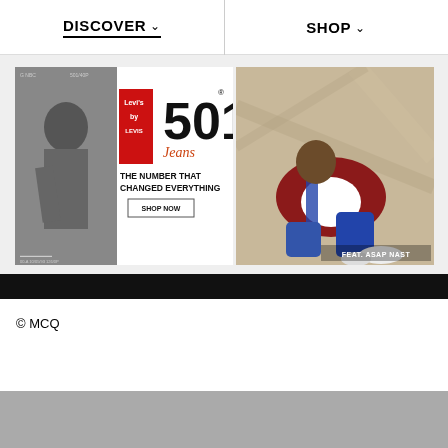DISCOVER  SHOP
[Figure (photo): Levi's 501 Jeans advertisement with black and white photo of a person and text 'THE NUMBER THAT CHANGED EVERYTHING' with SHOP NOW button]
[Figure (photo): Levi's 501 advertisement featuring ASAP Nast wearing jeans, lounging on a surface]
© MCQ